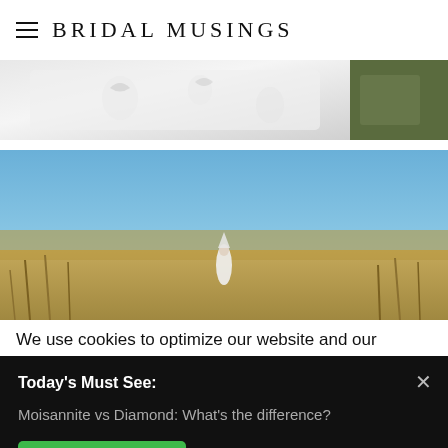BRIDAL MUSINGS
[Figure (photo): Close-up of white wedding dress fabric with floral embroidery, partial outdoor background]
[Figure (photo): Outdoor wedding scene with blue sky, golden wheat field, and a small figure of a person in white dress in the distance]
We use cookies to optimize our website and our
Today's Must See:
Moisannite vs Diamond: What's the difference?
SHOW ME!